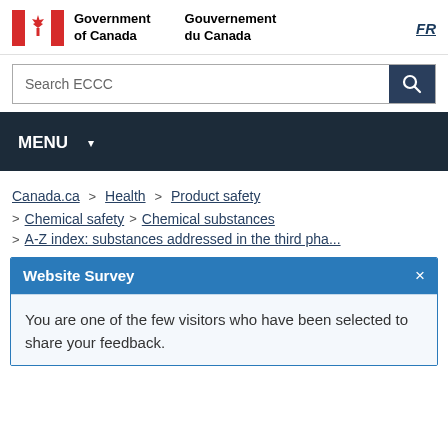Government of Canada / Gouvernement du Canada | FR
Search ECCC
MENU
Canada.ca > Health > Product safety > Chemical safety > Chemical substances > A-Z index: substances addressed in the third pha...
Website Survey — You are one of the few visitors who have been selected to share your feedback.